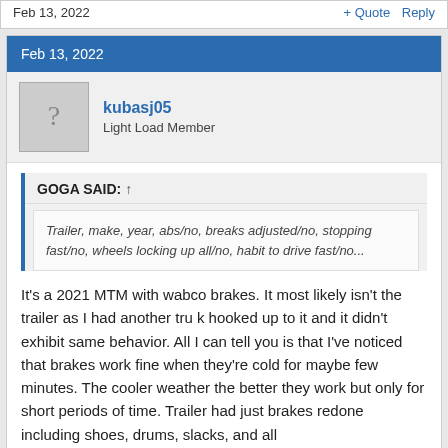Feb 13, 2022   + Quote   Reply
Feb 13, 2022
kubasj05
Light Load Member
GOGA SAID: ↑
Trailer, make, year, abs/no, breaks adjusted/no, stopping fast/no, wheels locking up all/no, habit to drive fast/no...
It's a 2021 MTM with wabco brakes. It most likely isn't the trailer as I had another tru k hooked up to it and it didn't exhibit same behavior. All I can tell you is that I've noticed that brakes work fine when they're cold for maybe few minutes. The cooler weather the better they work but only for short periods of time. Trailer had just brakes redone including shoes, drums, slacks, and all